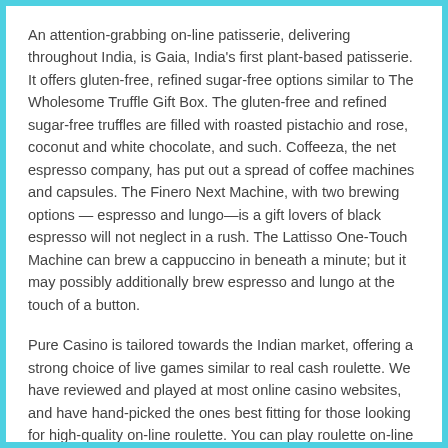An attention-grabbing on-line patisserie, delivering throughout India, is Gaia, India's first plant-based patisserie. It offers gluten-free, refined sugar-free options similar to The Wholesome Truffle Gift Box. The gluten-free and refined sugar-free truffles are filled with roasted pistachio and rose, coconut and white chocolate, and such. Coffeeza, the net espresso company, has put out a spread of coffee machines and capsules. The Finero Next Machine, with two brewing options — espresso and lungo—is a gift lovers of black espresso will not neglect in a rush. The Lattisso One-Touch Machine can brew a cappuccino in beneath a minute; but it may possibly additionally brew espresso and lungo at the touch of a button.
Pure Casino is tailored towards the Indian market, offering a strong choice of live games similar to real cash roulette. We have reviewed and played at most online casino websites, and have hand-picked the ones best fitting for those looking for high-quality on-line roulette. You can play roulette on-line at most on-line casinos, and you can do so from your mobile phone, pill, or laptop without issue.